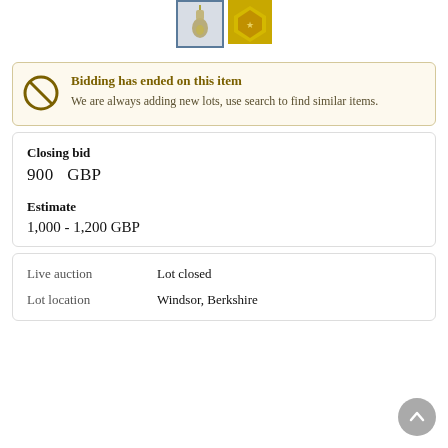[Figure (photo): Two small thumbnail images of jewelry items — a pendant/locket (selected, with blue border) and a gold shield-shaped item]
Bidding has ended on this item
We are always adding new lots, use search to find similar items.
Closing bid
900   GBP
Estimate
1,000 - 1,200 GBP
Live auction
Lot location
Lot closed
Windsor, Berkshire